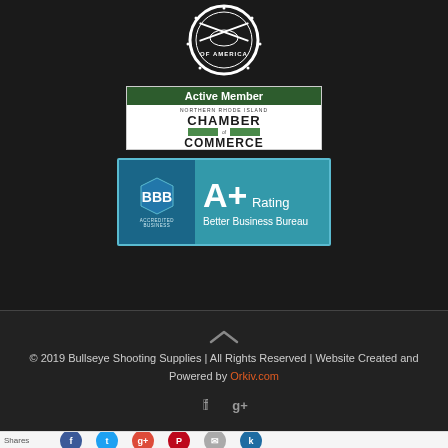[Figure (logo): NRA crossed rifles circular logo/seal]
[Figure (logo): Active Member - Northern Rhode Island Chamber of Commerce badge]
[Figure (logo): BBB A+ Rating - Better Business Bureau accredited business badge]
[Figure (other): Up arrow caret icon]
© 2019 Bullseye Shooting Supplies | All Rights Reserved | Website Created and Powered by Orkiv.com
[Figure (other): Social media icons: Facebook and Google+]
Shares
[Figure (other): Social share buttons: Facebook, Twitter, Google+, Pinterest, Email, King]